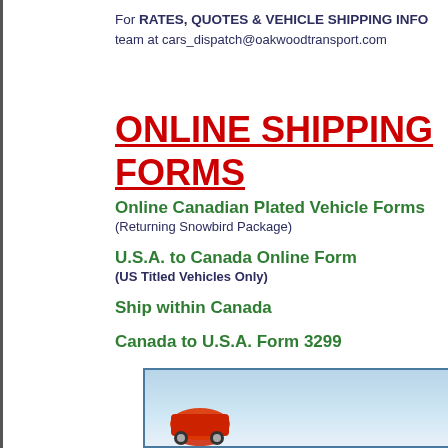For RATES, QUOTES & VEHICLE SHIPPING INFO team at cars_dispatch@oakwoodtransport.com
ONLINE SHIPPING FORMS
Online Canadian Plated Vehicle Forms (Returning Snowbird Package)
U.S.A. to Canada Online Form (US Titled Vehicles Only)
Ship within Canada
Canada to U.S.A. Form 3299
[Figure (photo): Partial view of a vehicle transport truck or car carrier against a light blue sky background]